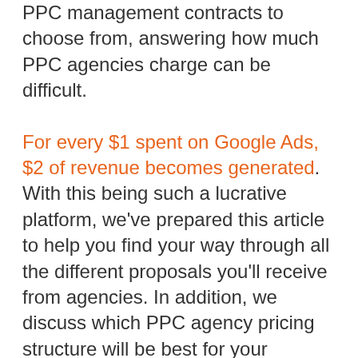PPC management contracts to choose from, answering how much PPC agencies charge can be difficult.
For every $1 spent on Google Ads, $2 of revenue becomes generated. With this being such a lucrative platform, we've prepared this article to help you find your way through all the different proposals you'll receive from agencies. In addition, we discuss which PPC agency pricing structure will be best for your company, so whether you're a startup with a tight budget or a large organization with plenty of money to spare – you'll learn plenty in this article.